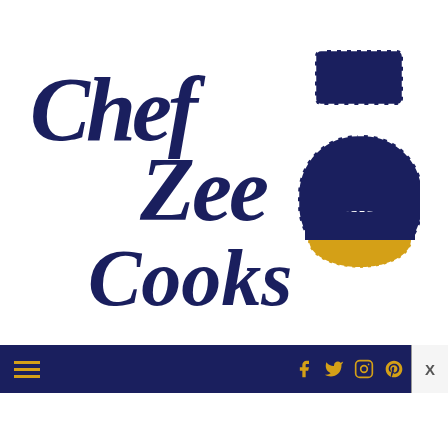[Figure (logo): Chef Zee Cooks logo — cursive dark navy blue text reading 'Chef Zee Cooks' with a cartoon chef figure/apron icon to the right, the apron icon is dark navy with a yellow/gold smile, white dashed stitching outline, and three white buttons at the top]
Navigation bar with hamburger menu icon and social media icons (Facebook, Twitter, Instagram, Pinterest, YouTube) in gold on a dark navy background